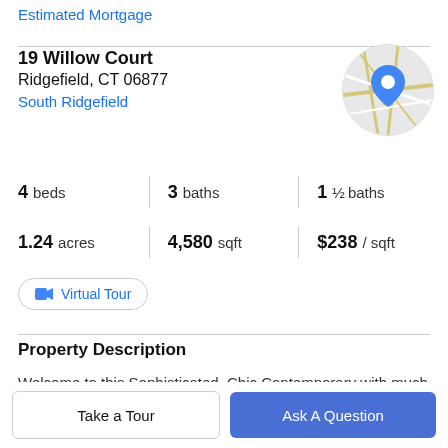Estimated Mortgage
19 Willow Court
Ridgefield, CT 06877
South Ridgefield
[Figure (map): Circular map thumbnail showing street map with blue location pin marker]
4 beds | 3 baths | 1 ½ baths
1.24 acres | 4,580 sqft | $238 / sqft
Virtual Tour
Property Description
Welcome to this Sophisticated, Chic Contemporary with much attention to detail from the minute you drive up to
Take a Tour
Ask A Question